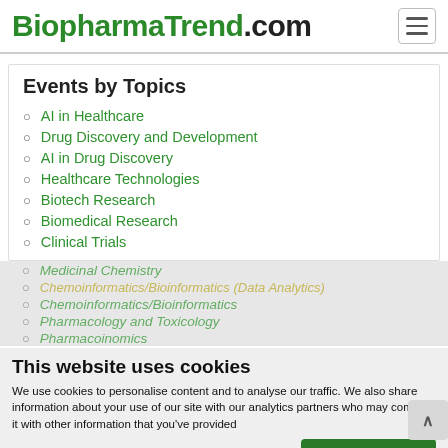BiopharmaTrend.com
Events by Topics
AI in Healthcare
Drug Discovery and Development
AI in Drug Discovery
Healthcare Technologies
Biotech Research
Biomedical Research
Clinical Trials
Medicinal Chemistry
Chemoinformatics/Bioinformatics (Data Analytics)
Chemoinformatics/Bioinformatics
Pharmacology and Toxicology
Pharmacoinomics
This website uses cookies
We use cookies to personalise content and to analyse our traffic. We also share information about your use of our site with our analytics partners who may combine it with other information that you've provided
Necessary cookies
Agree and Apply Preferences